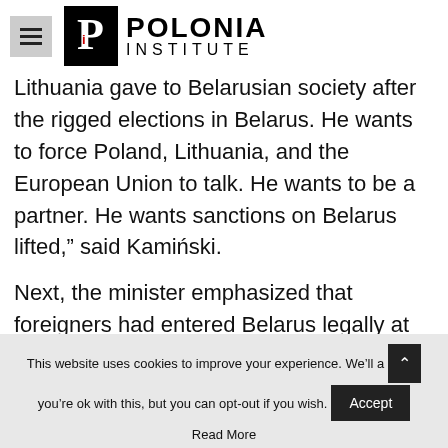Polonia Institute
Lithuania gave to Belarusian society after the rigged elections in Belarus. He wants to force Poland, Lithuania, and the European Union to talk. He wants to be a partner. He wants sanctions on Belarus lifted,” said Kamiński.
Next, the minister emphasized that foreigners had entered Belarus legally at
This website uses cookies to improve your experience. We’ll a you’re ok with this, but you can opt-out if you wish.
Read More